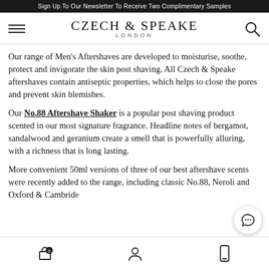Sign Up To Our Newsletter To Receive Two Complimentary Samples
[Figure (logo): Czech & Speake London logo with hamburger menu icon on left and search icon on right]
Our range of Men's Aftershaves are developed to moisturise, soothe, protect and invigorate the skin post shaving. All Czech & Speake aftershaves contain antiseptic properties, which helps to close the pores and prevent skin blemishes.
Our No.88 Aftershave Shaker is a popular post shaving product scented in our most signature fragrance. Headline notes of bergamot, sandalwood and geranium create a smell that is powerfully alluring, with a richness that is long lasting.
More convenient 50ml versions of three of our best aftershave scents were recently added to the range, including classic No.88, Neroli and Oxford & Cambridge